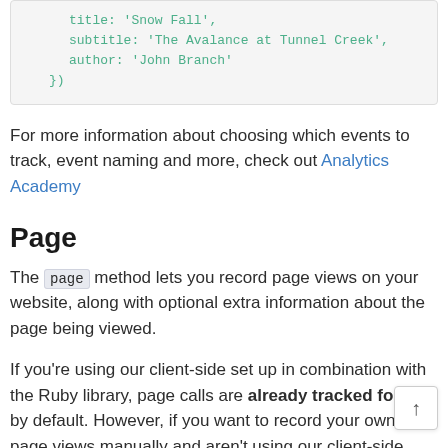[Figure (screenshot): Code block showing JavaScript/Ruby object with title, subtitle, and author properties for 'Snow Fall' by John Branch]
For more information about choosing which events to track, event naming and more, check out Analytics Academy
Page
The page method lets you record page views on your website, along with optional extra information about the page being viewed.
If you're using our client-side set up in combination with the Ruby library, page calls are already tracked for you by default. However, if you want to record your own page views manually and aren't using our client-side library, read on!